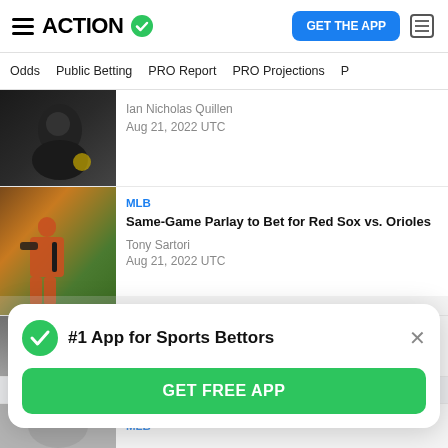ACTION — GET THE APP
Odds | Public Betting | PRO Report | PRO Projections
[Figure (photo): Sports player photo (partial, top of article row)]
Ian Nicholas Quillen
Aug 21, 2022 UTC
[Figure (photo): MLB baseball player in orange uniform swinging bat]
MLB
Same-Game Parlay to Bet for Red Sox vs. Orioles
Tony Sartori
Aug 21, 2022 UTC
[Figure (photo): NASCAR cars racing]
NASCAR
[Figure (infographic): #1 App for Sports Bettors modal with GET FREE APP button]
MLB